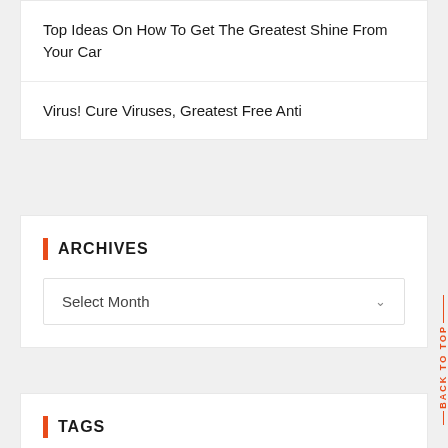Top Ideas On How To Get The Greatest Shine From Your Car
Virus! Cure Viruses, Greatest Free Anti
ARCHIVES
Select Month
TAGS